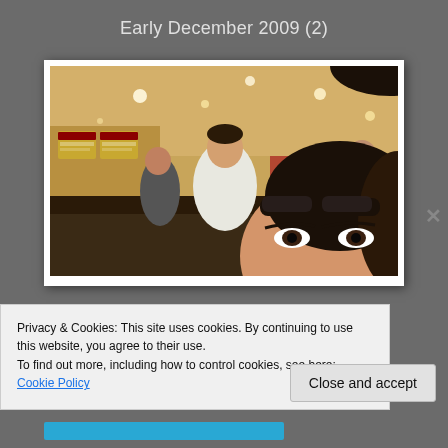Early December 2009 (2)
[Figure (photo): A selfie-style photo taken in a restaurant. A woman's face (eyes and forehead visible) occupies the lower-right foreground. In the background are other diners, menu boards on the wall, and warm ceiling lights in a fast-food style restaurant setting.]
Privacy & Cookies: This site uses cookies. By continuing to use this website, you agree to their use.
To find out more, including how to control cookies, see here: Cookie Policy
Close and accept